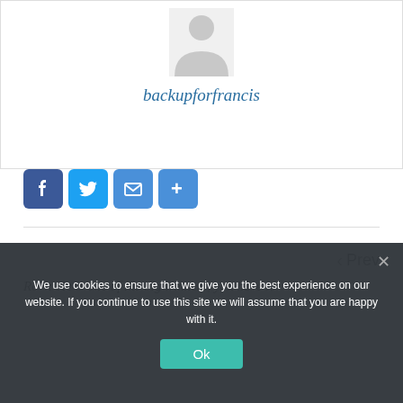[Figure (illustration): Default user avatar placeholder (grey silhouette of a person on white background)]
backupforfrancis
[Figure (infographic): Social share buttons: Facebook, Twitter, Email, and More (+)]
‹ Prev
Rovi: He is one of the big winners, you have to
We use cookies to ensure that we give you the best experience on our website. If you continue to use this site we will assume that you are happy with it.